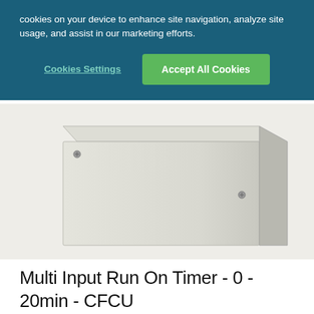cookies on your device to enhance site navigation, analyze site usage, and assist in our marketing efforts.
Cookies Settings
Accept All Cookies
[Figure (photo): A white rectangular enclosure box photographed at an angle showing the front face and right side, with two visible screw holes. Product appears to be an electrical control unit on a light grey background.]
Multi Input Run On Timer - 0 - 20min - CFCU
£ 61.95